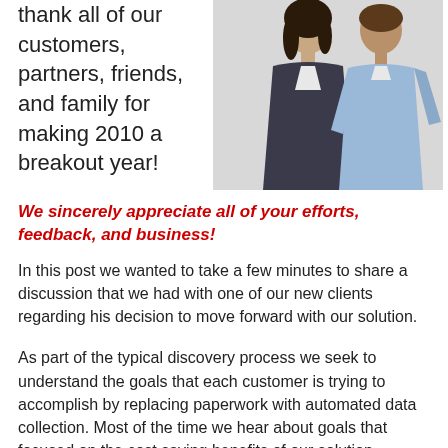thank all of our customers, partners, friends, and family for making 2010 a breakout year!
[Figure (photo): Two business professionals, a woman in a dark blazer and a man in a light blue shirt, photographed together from the waist up]
We sincerely appreciate all of your efforts, feedback, and business!
In this post we wanted to take a few minutes to share a discussion that we had with one of our new clients regarding his decision to move forward with our solution.
As part of the typical discovery process we seek to understand the goals that each customer is trying to accomplish by replacing paperwork with automated data collection. Most of the time we hear about goals that focused on the cost saving benefits of our solution.